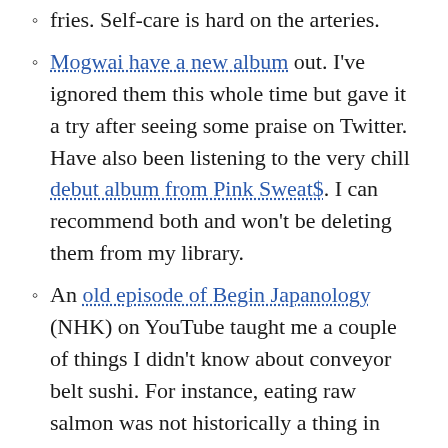fries. Self-care is hard on the arteries.
Mogwai have a new album out. I've ignored them this whole time but gave it a try after seeing some praise on Twitter. Have also been listening to the very chill debut album from Pink Sweat$. I can recommend both and won't be deleting them from my library.
An old episode of Begin Japanology (NHK) on YouTube taught me a couple of things I didn't know about conveyor belt sushi. For instance, eating raw salmon was not historically a thing in Japan because locally caught salmon had parasites and had to be